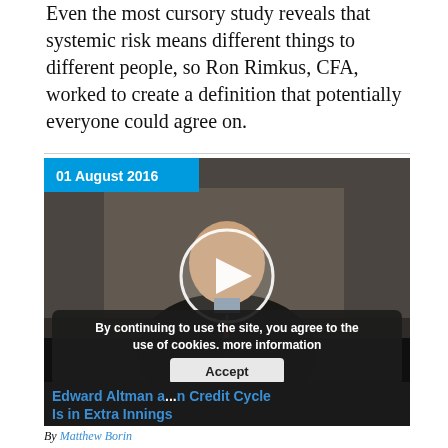Even the most cursory study reveals that systemic risk means different things to different people, so Ron Rimkus, CFA, worked to create a definition that potentially everyone could agree on.
[Figure (screenshot): Video thumbnail dated 01 August 2016 showing a man in a suit speaking at a podium, with a circular play button overlay. A cookie consent overlay reads 'By continuing to use the site, you agree to the use of cookies. more information' with an Accept button.]
Edward Altman a... n Credit Cycle Is in Extra Innings
By Matthew Borin